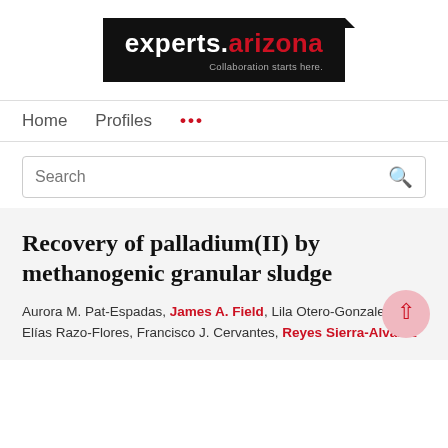[Figure (logo): experts.arizona logo — black background with white text 'experts.' and red '.arizona', tagline 'Collaboration starts here.']
Home   Profiles   ...
Search
Recovery of palladium(II) by methanogenic granular sludge
Aurora M. Pat-Espadas, James A. Field, Lila Otero-Gonzalez, Elías Razo-Flores, Francisco J. Cervantes, Reyes Sierra-Alvarez